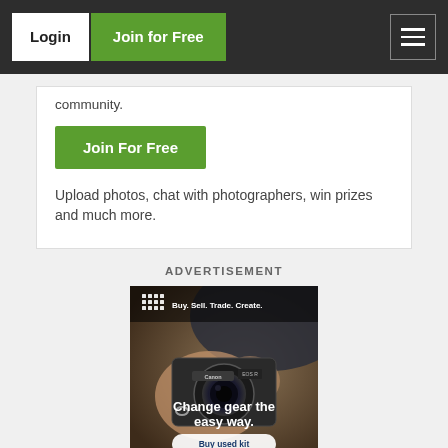Login | Join for Free
community.
Join For Free
Upload photos, chat with photographers, win prizes and much more.
ADVERTISEMENT
[Figure (photo): Advertisement banner for a camera gear marketplace (MPB/similar). Shows a person holding a Canon EOS R camera up to their face, wearing a cap. Text overlay reads 'Buy. Sell. Trade. Create.' and 'Change gear the easy way.' with a 'Buy used kit' button. Logo of dots/squares in top-left corner.]